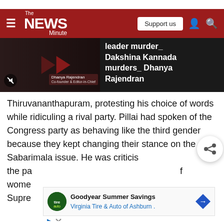The NEWS Minute — Support us
[Figure (screenshot): Video thumbnail showing a dark-toned interview scene with red play arrows and text overlay: leader murder_ Dakshina Kannada murders_ Dhanya Rajendran]
Thiruvananthapuram, protesting his choice of words while ridiculing a rival party. Pillai had spoken of the Congress party as behaving like the third gender because they kept changing their stance on the Sabarimala issue. He was criticis... the pa... f wome... Supre...
[Figure (screenshot): Ad banner: Goodyear Summer Savings — Virginia Tire & Auto of Ashburn]